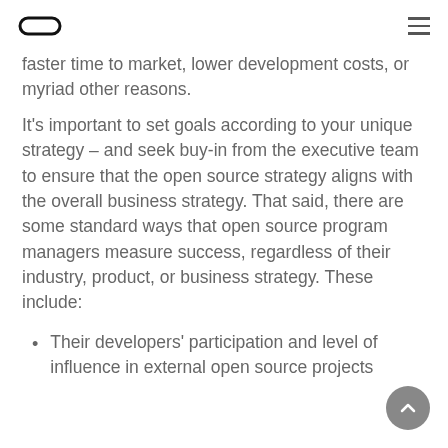Oracle logo and navigation menu
faster time to market, lower development costs, or myriad other reasons.
It's important to set goals according to your unique strategy – and seek buy-in from the executive team to ensure that the open source strategy aligns with the overall business strategy. That said, there are some standard ways that open source program managers measure success, regardless of their industry, product, or business strategy. These include:
Their developers' participation and level of influence in external open source projects